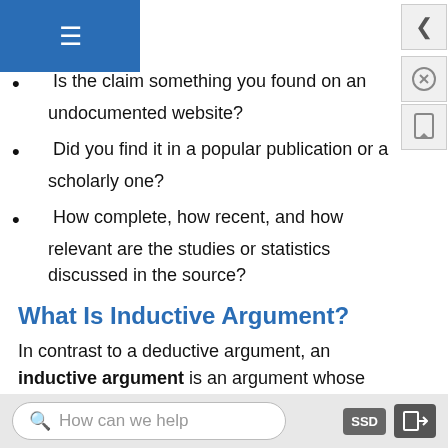Is the claim something you found on an undocumented website?
Did you find it in a popular publication or a scholarly one?
How complete, how recent, and how relevant are the studies or statistics discussed in the source?
What Is Inductive Argument?
In contrast to a deductive argument, an inductive argument is an argument whose conclusion is supposed to follow from its premises with a high level of probability, which means that although it is possible that the conclusion doesn't follow from its premises, it is unlikely that this is the case. Here is an example of
How can we help